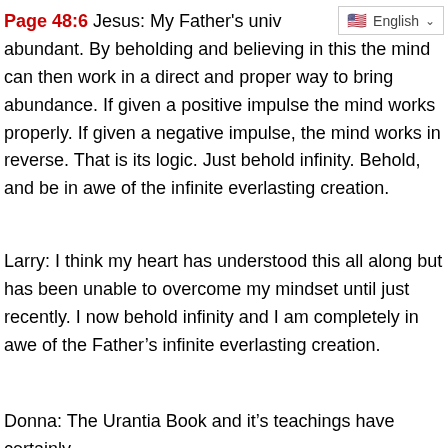Page 48:6 Jesus: My Father's universe is infinitely abundant. By beholding and believing in this the mind can then work in a direct and proper way to bring abundance. If given a positive impulse the mind works properly. If given a negative impulse, the mind works in reverse. That is its logic. Just behold infinity. Behold, and be in awe of the infinite everlasting creation.
Larry: I think my heart has understood this all along but has been unable to overcome my mindset until just recently. I now behold infinity and I am completely in awe of the Father's infinite everlasting creation.
Donna: The Urantia Book and it's teachings have certainly